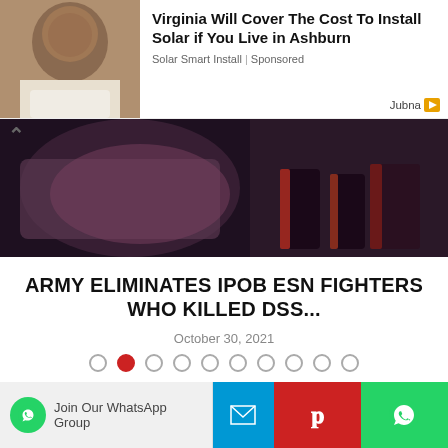[Figure (photo): Advertisement: Man's face portrait photo next to text ad for solar panel installation]
Virginia Will Cover The Cost To Install Solar if You Live in Ashburn
Solar Smart Install | Sponsored
[Figure (photo): Carousel news image showing draped fabric and legs/feet on the ground]
ARMY ELIMINATES IPOB ESN FIGHTERS WHO KILLED DSS...
October 30, 2021
Carousel dots navigation: 10 dots, second dot active (red)
LEAVE A COMMENT
Join Our WhatsApp Group